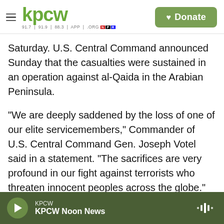kpcw — 91.7 | 91.9 | 88.3 | APP | .ORG NPR — Donate
Saturday. U.S. Central Command announced Sunday that the casualties were sustained in an operation against al-Qaida in the Arabian Peninsula.
"We are deeply saddened by the loss of one of our elite servicemembers," Commander of U.S. Central Command Gen. Joseph Votel said in a statement. "The sacrifices are very profound in our fight against terrorists who threaten innocent peoples across the globe."
In a statement released Sunday, President Trump
KPCW — KPCW Noon News